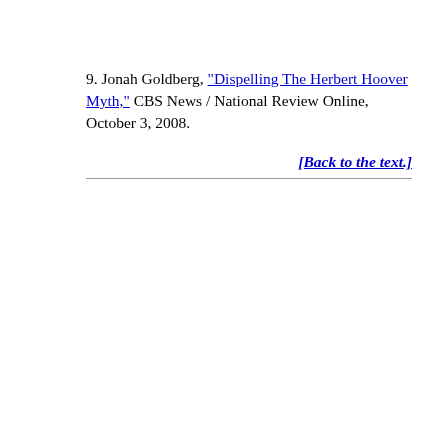9. Jonah Goldberg, "Dispelling The Herbert Hoover Myth," CBS News / National Review Online, October 3, 2008. [Back to the text.]